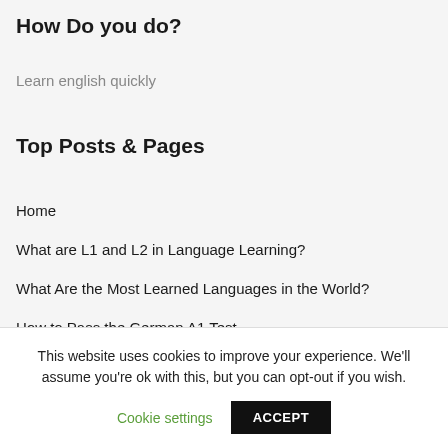How Do you do?
Learn english quickly
Top Posts & Pages
Home
What are L1 and L2 in Language Learning?
What Are the Most Learned Languages in the World?
How to Pass the German A1 Test
Most famous Spanish short stories online
This website uses cookies to improve your experience. We'll assume you're ok with this, but you can opt-out if you wish.
Cookie settings  ACCEPT